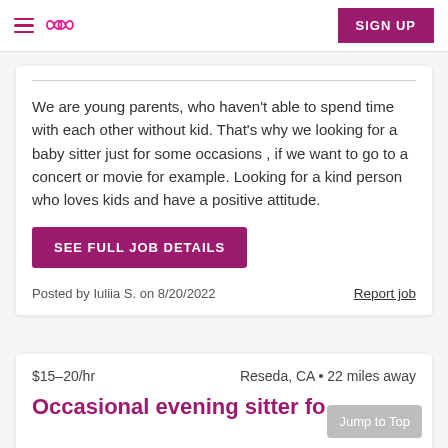Sittercity navigation bar with hamburger menu, logo, and SIGN UP button
We are young parents, who haven't able to spend time with each other without kid. That's why we looking for a baby sitter just for some occasions , if we want to go to a concert or movie for example. Looking for a kind person who loves kids and have a positive attitude.
SEE FULL JOB DETAILS
Posted by Iuliia S. on 8/20/2022
Report job
$15–20/hr    Reseda, CA • 22 miles away
Occasional evening sitter fo...